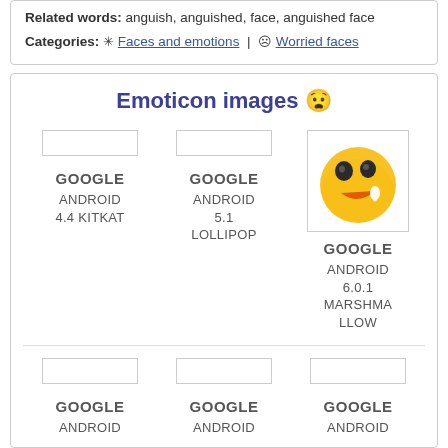Related words: anguish, anguished, face, anguished face
Categories: 🔯 Faces and emotions | ☹ Worried faces
Emoticon images 😧
[Figure (other): Grid of emoji images for Google Android versions. Row 1: empty placeholder (Google, Android 4.4 KitKat), empty placeholder (Google, Android 5.1 Lollipop), anguished face emoji image (Google, Android 6.0.1 Marshmallow). Row 2: three more empty placeholders labeled Google Android.]